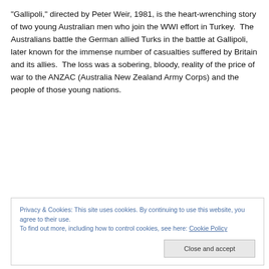“Gallipoli,” directed by Peter Weir, 1981, is the heart-wrenching story of two young Australian men who join the WWI effort in Turkey.  The Australians battle the German allied Turks in the battle at Gallipoli, later known for the immense number of casualties suffered by Britain and its allies.  The loss was a sobering, bloody, reality of the price of war to the ANZAC (Australia New Zealand Army Corps) and the people of those young nations.
Privacy & Cookies: This site uses cookies. By continuing to use this website, you agree to their use.
To find out more, including how to control cookies, see here: Cookie Policy